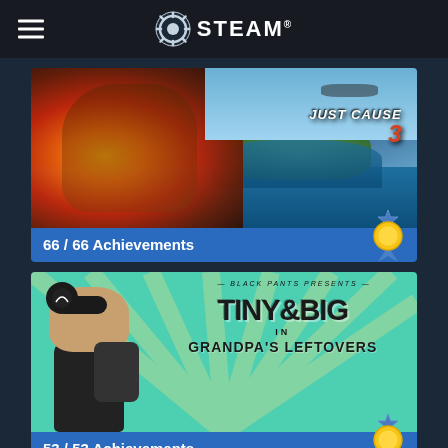STEAM®
[Figure (screenshot): Just Cause 3 game banner showing character with explosion and island landscape, with 'JUST CAUSE 3' title text]
66 / 66 Achievements
[Figure (screenshot): Tiny & Big: Grandpa's Leftovers game banner with teal background, cartoon character, and game title]
53 / 53 Achievements
[Figure (screenshot): Partial view of a third game banner (bottom of page)]